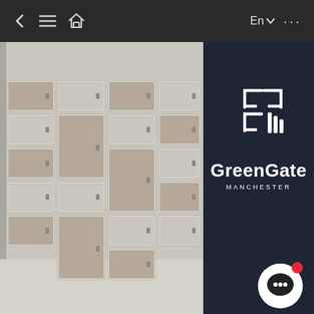< ≡ ⌂   En ▼ ...
[Figure (photo): Interior photo of a locker room with multi-colored locker panels (beige, tan/brown, grey) arranged in a grid on the left side. On the right side is a dark navy blue column/pillar featuring the GreenGate Manchester logo (an abstract interlocking G-shaped icon in white) and the text 'GreenGate' in large white letters with 'MANCHESTER' in smaller white letters below. The floor is light-coloured. A chat button with a red notification dot appears in the bottom-right corner.]